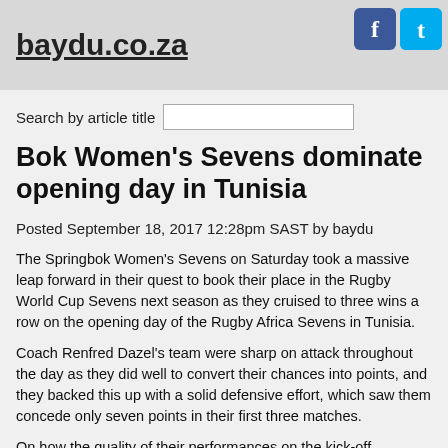baydu.co.za
Search by article title
Bok Women's Sevens dominate opening day in Tunisia
Posted September 18, 2017 12:28pm SAST by baydu
The Springbok Women's Sevens on Saturday took a massive leap forward in their quest to book their place in the Rugby World Cup Sevens next season as they cruised to three wins a row on the opening day of the Rugby Africa Sevens in Tunisia.
Coach Renfred Dazel's team were sharp on attack throughout the day as they did well to convert their chances into points, and they backed this up with a solid defensive effort, which saw them concede only seven points in their first three matches.
On how the quality of their performances on the kick-off...